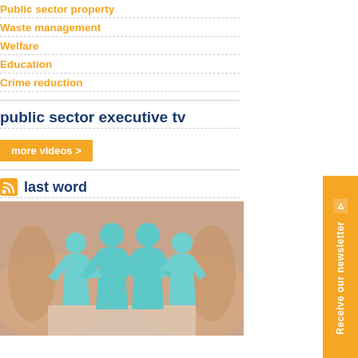Public sector property
Waste management
Welfare
Education
Crime reduction
public sector executive tv
more videos >
last word
[Figure (photo): Two hands cupping paper cut-out human figures linked together, representing community or welfare concept]